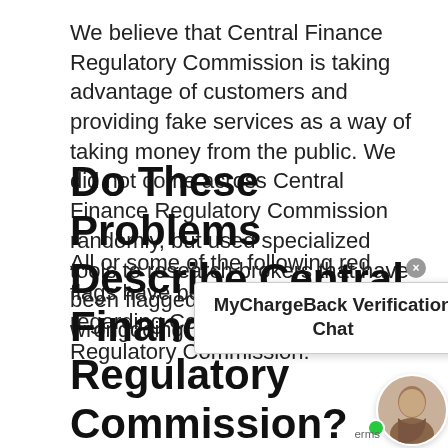We believe that Central Finance Regulatory Commission is taking advantage of customers and providing fake services as a way of taking money from the public. We did not come across Central Finance Regulatory Commission randomly, but used specialized tools to research brokers that have been flagged on suspicion for wrongdoing.
All or some of the following red flags have been raised regarding Central Finance Regulatory Commission:
[Figure (screenshot): MyChargeBack Verification Chat popup overlay with close button and agent avatar with green online indicator]
Do These Problems Describe Central Finance Regulatory Commission?